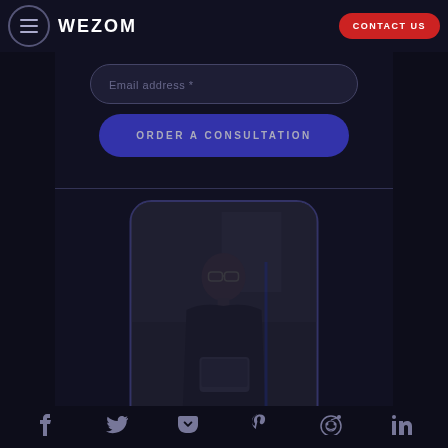situation and help you choose an effective solution in scaling your business
WEZOM | CONTACT US
Email address *
ORDER A CONSULTATION
[Figure (photo): Photo of a woman wearing glasses, holding a laptop, standing in a bright corridor. Image is darkened/overlaid.]
Social share icons: Facebook, Twitter, Pocket, Pinterest, Reddit, LinkedIn